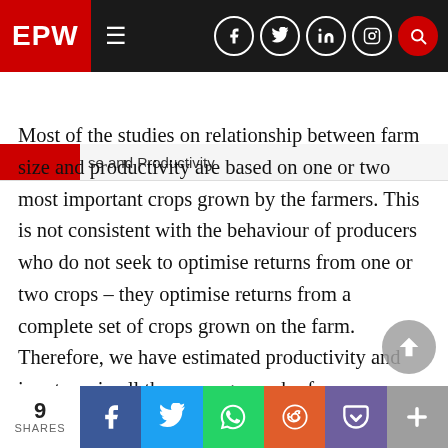EPW — navigation bar with logo and social icons
se and Productivity
Most of the studies on relationship between farm size and productivity are based on one or two most important crops grown by the farmers. This is not consistent with the behaviour of producers who do not seek to optimise returns from one or two crops – they optimise returns from a complete set of crops grown on the farm. Therefore, we have estimated productivity and input use in all the crops grown by farmers on an annual basis and used these to compare performance of the entire system of land-based activities across farm si categories. In Indian agriculture, the overall
9 SHARES  f  t  WhatsApp  Reddit  Pocket  +